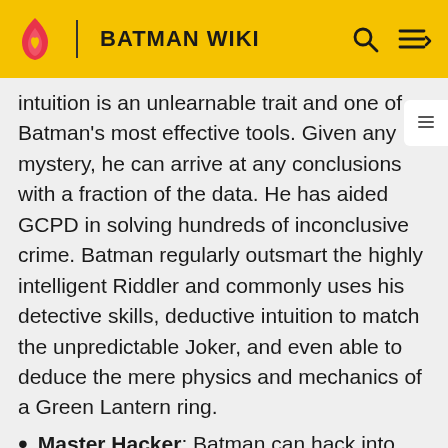BATMAN WIKI
intuition is an unlearnable trait and one of Batman's most effective tools. Given any mystery, he can arrive at any conclusions with a fraction of the data. He has aided GCPD in solving hundreds of inconclusive crime. Batman regularly outsmart the highly intelligent Riddler and commonly uses his detective skills, deductive intuition to match the unpredictable Joker, and even able to deduce the mere physics and mechanics of a Green Lantern ring.
Master Hacker: Batman can hack into almost any computer and learn what he needs from its database. Batman is at times, often helped by Oracle or Alfred with computer-related matters as he pales in comparison to their skills; this usually frees up his time to focus on other problems. Bruce was able to